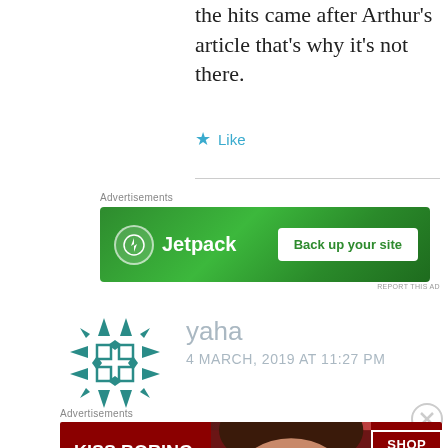the hits came after Arthur's article that's why it's not there.
★ Like
Advertisements
[Figure (screenshot): Jetpack advertisement banner with green background, Jetpack logo and icon on left, 'Back up your site' button on right]
REPORT THIS AD
[Figure (illustration): Teal geometric snowflake/star avatar icon for commenter yaha]
yaha
4 MARCH, 2019 AT 11:27 PM
Advertisements
[Figure (screenshot): Macy's advertisement banner: 'KISS BORING LIPS GOODBYE' with SHOP NOW button and Macy's logo on red background with woman's face]